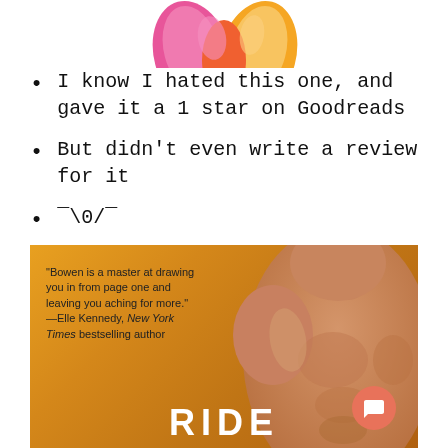[Figure (illustration): Partial colorful flame/flower illustration at top center of page, pink and orange colors]
I know I hated this one, and gave it a 1 star on Goodreads
But didn't even write a review for it
¯\0/¯
[Figure (photo): Book cover showing a muscular shirtless man on a golden/orange background with a quote: 'Bowen is a master at drawing you in from page one and leaving you aching for more.' —Elle Kennedy, New York Times bestselling author. Title at bottom: RIDE. A salmon-colored chat bubble icon is in the bottom right.]